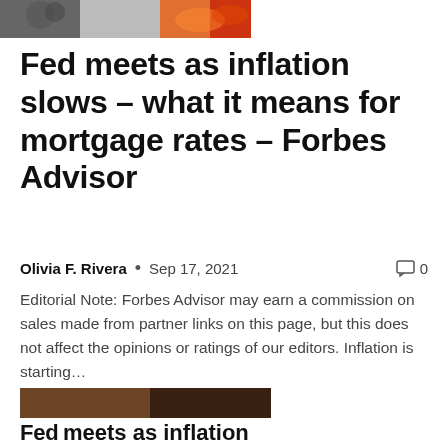[Figure (photo): Partial top image showing food/decorative items, cropped at top of page]
Fed meets as inflation slows – what it means for mortgage rates – Forbes Advisor
Olivia F. Rivera • Sep 17, 2021   💬 0
Editorial Note: Forbes Advisor may earn a commission on sales made from partner links on this page, but this does not affect the opinions or ratings of our editors. Inflation is starting...
[Figure (photo): Photo of a woman (Elizabeth Warren) in a blue jacket speaking at a hearing, with another person visible in the background]